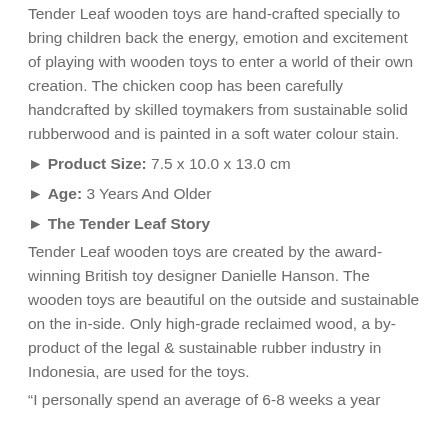Tender Leaf wooden toys are hand-crafted specially to bring children back the energy, emotion and excitement of playing with wooden toys to enter a world of their own creation. The chicken coop has been carefully handcrafted by skilled toymakers from sustainable solid rubberwood and is painted in a soft water colour stain.
► Product Size: 7.5 x 10.0 x 13.0 cm
► Age: 3 Years And Older
► The Tender Leaf Story
Tender Leaf wooden toys are created by the award-winning British toy designer Danielle Hanson. The wooden toys are beautiful on the outside and sustainable on the in-side. Only high-grade reclaimed wood, a by-product of the legal & sustainable rubber industry in Indonesia, are used for the toys.
“I personally spend an average of 6-8 weeks a year